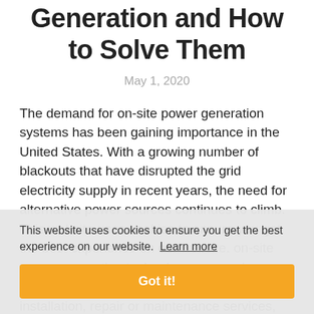Generation and How to Solve Them
May 1, 2020
The demand for on-site power generation systems has been gaining importance in the United States. With a growing number of blackouts that have disrupted the grid electricity supply in recent years, the need for alternative power sources continues to climb. This website uses cookies to ensure you get the best experience on our website. Learn more on-site power generation technology companies. Whether these solutions provide system installation, repair or maintenance services, there is pressure to improve service